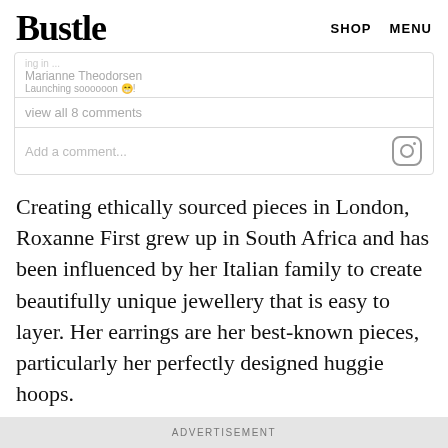Bustle  SHOP  MENU
view all 8 comments
Add a comment...
Creating ethically sourced pieces in London, Roxanne First grew up in South Africa and has been influenced by her Italian family to create beautifully unique jewellery that is easy to layer. Her earrings are her best-known pieces, particularly her perfectly designed huggie hoops.
ADVERTISEMENT